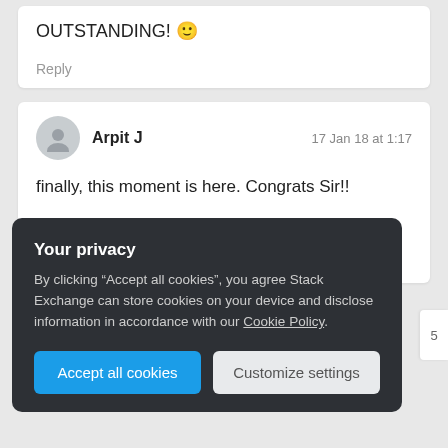OUTSTANDING! 🙂
Reply
Arpit J
17 Jan 18 at 1:17
finally, this moment is here. Congrats Sir!!
Jon Skeet is Jon Snow of SO.
Reply
Your privacy
By clicking “Accept all cookies”, you agree Stack Exchange can store cookies on your device and disclose information in accordance with our Cookie Policy.
Accept all cookies
Customize settings